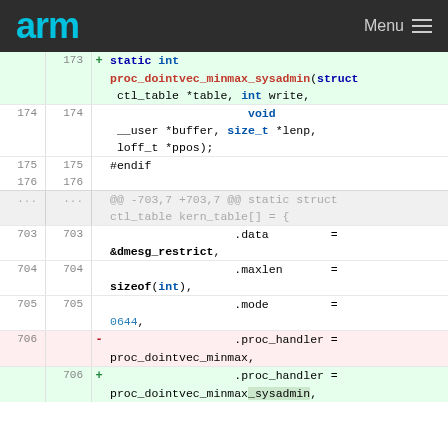arm  Menu
[Figure (screenshot): Git diff view showing code changes. Line 173 adds static int proc_dointvec_minmax_sysadmin function declaration. Lines 174-176 show void __user *buffer, size_t *lenp, loff_t *ppos parameters and #endif. Lines 703-705 show .data = &dmesg_restrict, .maxlen = sizeof(int), .mode = 0644. Line 706 old: .proc_handler = proc_dointvec_minmax. Line 706 new: .proc_handler = proc_dointvec_minmax_sysadmin.]